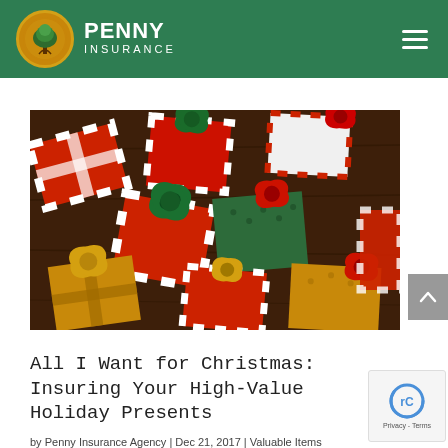PENNY INSURANCE
[Figure (photo): Overhead view of many colorful Christmas gift boxes wrapped in red, white, and gold paper with bows in green, red, and gold colors, arranged on a dark wooden surface.]
All I Want for Christmas: Insuring Your High-Value Holiday Presents
by Penny Insurance Agency | Dec 21, 2017 | Valuable Items